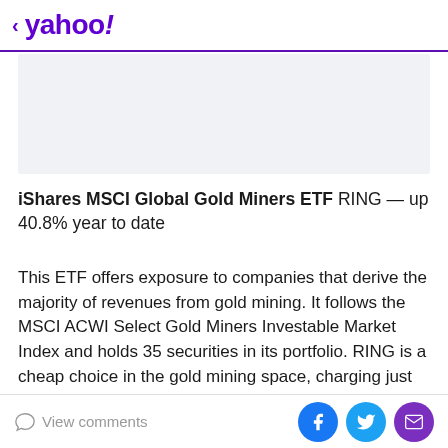< yahoo!
[Figure (other): Advertisement banner placeholder with light gray background]
iShares MSCI Global Gold Miners ETF RING — up 40.8% year to date
This ETF offers exposure to companies that derive the majority of revenues from gold mining. It follows the MSCI ACWI Select Gold Miners Investable Market Index and holds 35 securities in its portfolio. RING is a cheap choice in the gold mining space, charging just 39 bps in fees and expenses. The fund has been able to manage
View comments